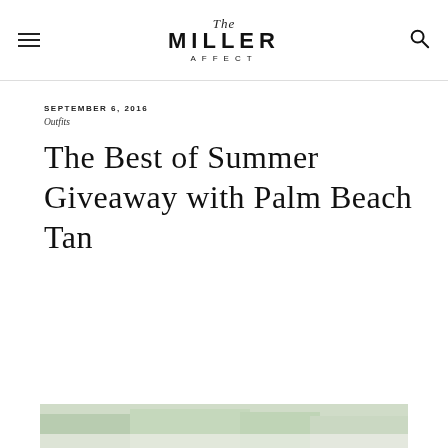The Miller Affect
SEPTEMBER 6, 2016
Outfits
The Best of Summer Giveaway with Palm Beach Tan
[Figure (photo): Bottom edge of photo showing outdoor greenery and light background]